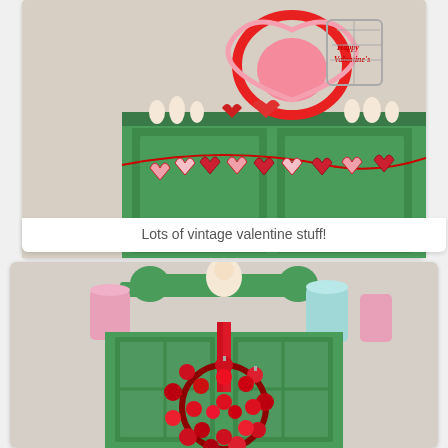[Figure (photo): A green painted cabinet/hutch with vintage Valentine's Day decorations on top, including heart-shaped items, figurines, a 'Happy Valentine's' sign, a bird cage, and a heart bunting banner hanging in front of the green cabinet doors.]
Lots of vintage valentine stuff!
[Figure (photo): A green painted china cabinet/hutch with pink and blue pitchers on top, a vintage Valentine angel figure at the top center, and a large wreath made of red ornament balls hanging on the front of the cabinet with a red ribbon.]